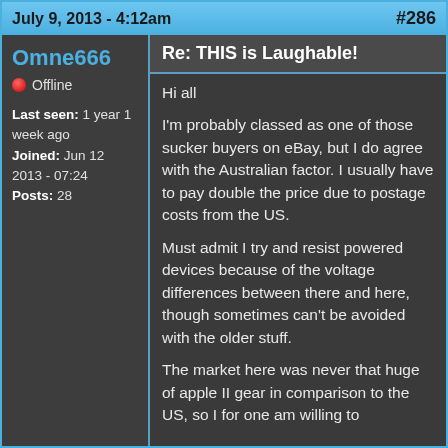July 9, 2013 - 4:12am  #286
Omne666
Offline
Last seen: 1 year 1 week ago
Joined: Jun 12 2013 - 07:24
Posts: 28
Re: THIS is Laughable!
Hi all

I'm probably classed as one of those sucker buyers on eBay, but I do agree with the Australian factor. I usually have to pay double the price due to postage costs from the US.

Must admit I try and resist powered devices because of the voltage differences between there and here, though sometimes can't be avoided with the older stuff.

The market here was never that huge of apple II gear in comparison to the US, so I for one am willing to